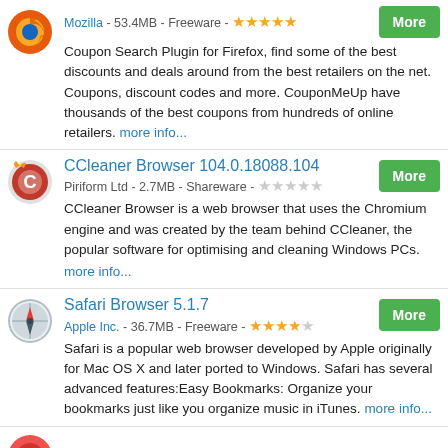Mozilla - 53.4MB - Freeware - ★★★★★
Coupon Search Plugin for Firefox, find some of the best discounts and deals around from the best retailers on the net. Coupons, discount codes and more. CouponMeUp have thousands of the best coupons from hundreds of online retailers. more info...
CCleaner Browser 104.0.18088.104
Piriform Ltd - 2.7MB - Shareware -
CCleaner Browser is a web browser that uses the Chromium engine and was created by the team behind CCleaner, the popular software for optimising and cleaning Windows PCs. more info...
Safari Browser 5.1.7
Apple Inc. - 36.7MB - Freeware - ★★★★
Safari is a popular web browser developed by Apple originally for Mac OS X and later ported to Windows. Safari has several advanced features:Easy Bookmarks: Organize your bookmarks just like you organize music in iTunes. more info...
Vivaldi Browser 5.4.2753.40